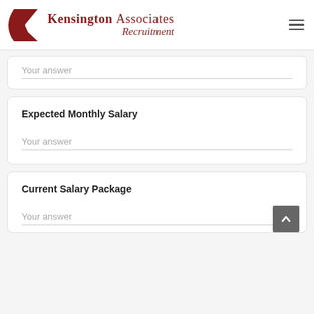[Figure (logo): Kensington Associates Recruitment logo with red K icon and serif text]
Your answer
Expected Monthly Salary
Your answer
Current Salary Package
Your answer